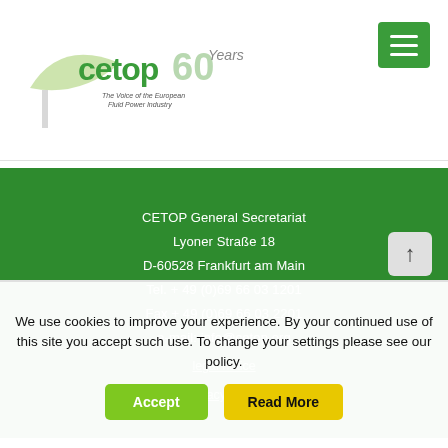[Figure (logo): CETOP 60 Years logo – The Voice of the European Fluid Power Industry]
CETOP General Secretariat
Lyoner Straße 18
D-60528 Frankfurt am Main
Tel. + 49 (0)69 66 03 1201
Fax + 49 (0)69 66 03 2201
e-mail: info@cetop.org
legal notice
privacy policy
We use cookies to improve your experience. By your continued use of this site you accept such use. To change your settings please see our policy.